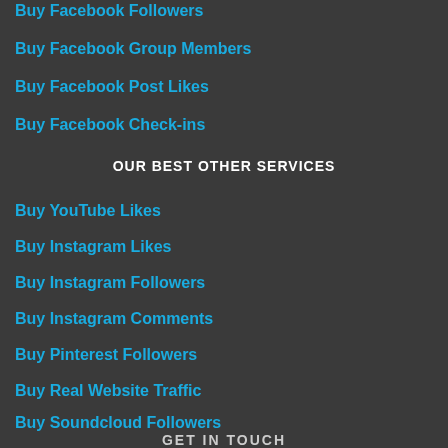Buy Facebook Followers
Buy Facebook Group Members
Buy Facebook Post Likes
Buy Facebook Check-ins
OUR BEST OTHER SERVICES
Buy YouTube Likes
Buy Instagram Likes
Buy Instagram Followers
Buy Instagram Comments
Buy Pinterest Followers
Buy Real Website Traffic
Buy Soundcloud Followers
GET IN TOUCH